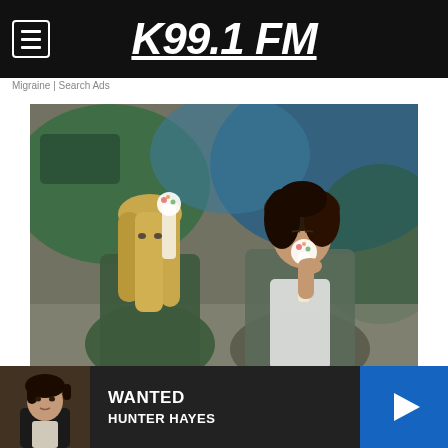K99.1 FM
Migraine | Search Ads
[Figure (photo): Two young women sitting against a graffiti wall, both eating ice cream popsicles. Left woman has long blonde hair wearing a green jacket. Right woman has dark curly hair wearing a camo jacket and white shirt.]
[Figure (photo): Small thumbnail of Hunter Hayes, a young man with dark hair, wearing a leather jacket.]
WANTED
HUNTER HAYES